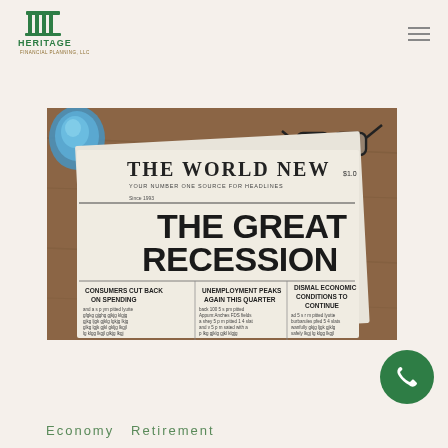[Figure (logo): Heritage Financial Planning LLC logo with green pillar/column icon and green text]
[Figure (photo): Newspaper with headline 'THE GREAT RECESSION' from 'The World News', with articles: CONSUMERS CUT BACK ON SPENDING, UNEMPLOYMENT PEAKS AGAIN THIS QUARTER, DISMAL ECONOMIC CONDITIONS TO CONTINUE. Glasses and a blue decorative object visible on wooden table.]
Economy  Retirement